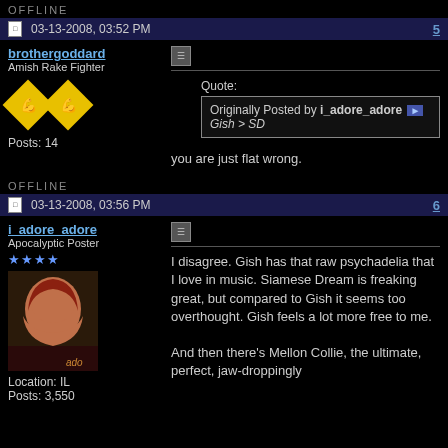OFFLINE
03-13-2008, 03:52 PM — Post #5
brothergoddard
Amish Rake Fighter
Posts: 14
Quote:
Originally Posted by i_adore_adore
Gish > SD
you are just flat wrong.
OFFLINE
03-13-2008, 03:56 PM — Post #6
i_adore_adore
Apocalyptic Poster
Location: IL
Posts: 3,550
I disagree. Gish has that raw psychadelia that I love in music. Siamese Dream is freaking great, but compared to Gish it seems too overthought. Gish feels a lot more free to me.

And then there's Mellon Collie, the ultimate, perfect, jaw-droppingly